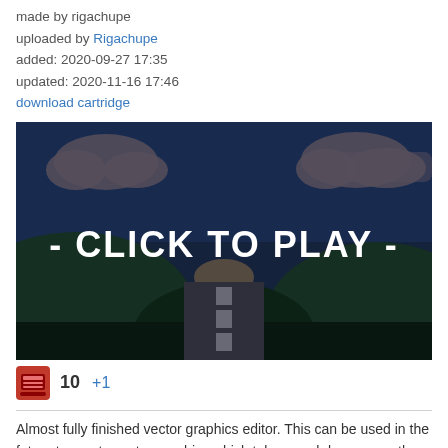made by rigachupe
uploaded by Rigachupe
added: 2020-09-27 17:35
updated: 2020-11-16 17:46
download cartridge
[Figure (screenshot): Game screenshot showing a dark landscape with clouds, hills, a road, and a large white text overlay reading '- CLICK TO PLAY -']
10  +1
Almost fully finished vector graphics editor. This can be used in the future to create vector graphics which takes much less space than